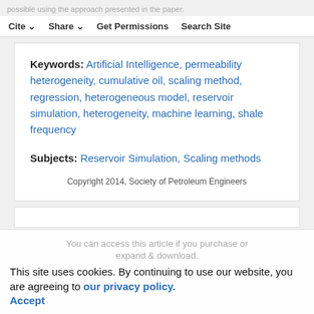possible using the approach presented in the paper.
Cite  Share  Get Permissions  Search Site
Keywords: Artificial Intelligence, permeability heterogeneity, cumulative oil, scaling method, regression, heterogeneous model, reservoir simulation, heterogeneity, machine learning, shale frequency
Subjects: Reservoir Simulation, Scaling methods
Copyright 2014, Society of Petroleum Engineers
You can access this article if you purchase or expand & download.
This site uses cookies. By continuing to use our website, you are agreeing to our privacy policy. Accept